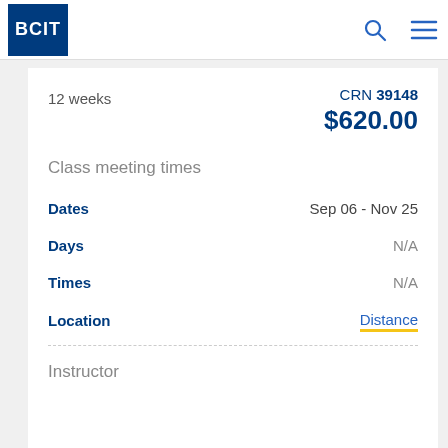BCIT
12 weeks
CRN 39148
$620.00
Class meeting times
Dates   Sep 06 - Nov 25
Days   N/A
Times   N/A
Location   Distance
Instructor